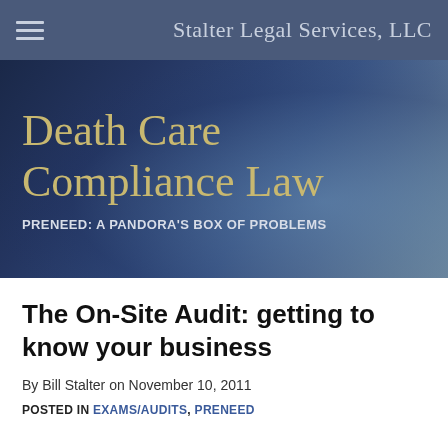Stalter Legal Services, LLC
Death Care Compliance Law
PRENEED: A PANDORA'S BOX OF PROBLEMS
The On-Site Audit: getting to know your business
By Bill Stalter on November 10, 2011
POSTED IN EXAMS/AUDITS, PRENEED